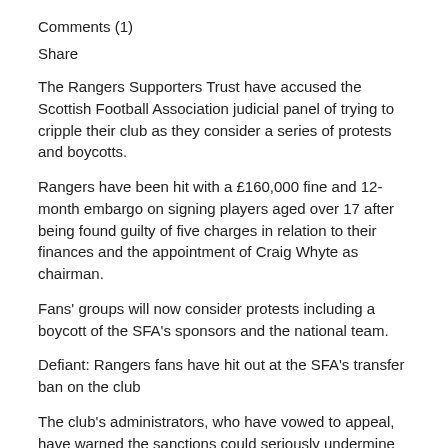Comments (1)
Share
The Rangers Supporters Trust have accused the Scottish Football Association judicial panel of trying to cripple their club as they consider a series of protests and boycotts.
Rangers have been hit with a £160,000 fine and 12-month embargo on signing players aged over 17 after being found guilty of five charges in relation to their finances and the appointment of Craig Whyte as chairman.
Fans' groups will now consider protests including a boycott of the SFA's sponsors and the national team.
Defiant: Rangers fans have hit out at the SFA's transfer ban on the club
The club's administrators, who have vowed to appeal, have warned the sanctions could seriously undermine attempts to rebuild with the two interested parties still to submit finalised bids.